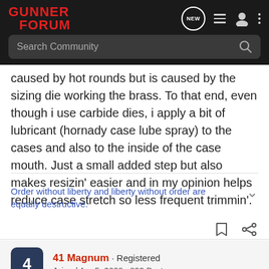GUNNER FORUM
caused by hot rounds but is caused by the sizing die working the brass. To that end, even though i use carbide dies, i apply a bit of lubricant (hornady case lube spray) to the cases and also to the inside of the case mouth. Just a small added step but also makes resizin' easier and in my opinion helps reduce case stretch so less frequent trimmin'.
Order without liberty and liberty without order are equally destructive.
41 Magnum · Registered
Joined Apr 5, 2008 · 892 Posts